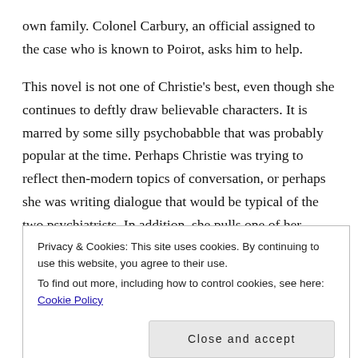own family. Colonel Carbury, an official assigned to the case who is known to Poirot, asks him to help.
This novel is not one of Christie's best, even though she continues to deftly draw believable characters. It is marred by some silly psychobabble that was probably popular at the time. Perhaps Christie was trying to reflect then-modern topics of conversation, or perhaps she was writing dialogue that would be typical of the two psychiatrists. In addition, she pulls one of her tricks, making the solution depend upon information that is not possible for the reader
Privacy & Cookies: This site uses cookies. By continuing to use this website, you agree to their use.
To find out more, including how to control cookies, see here: Cookie Policy
Close and accept